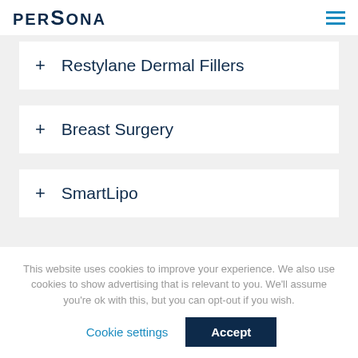PERSONA
+ Restylane Dermal Fillers
+ Breast Surgery
+ SmartLipo
This website uses cookies to improve your experience. We also use cookies to show advertising that is relevant to you. We'll assume you're ok with this, but you can opt-out if you wish.
Cookie settings  Accept